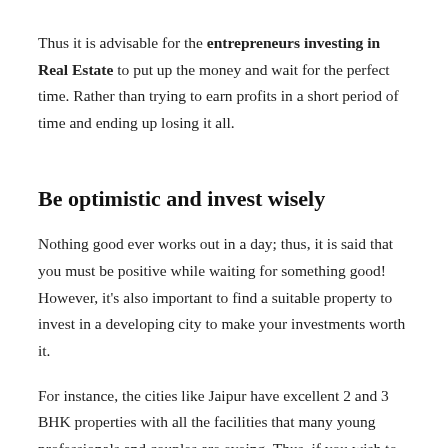Thus it is advisable for the entrepreneurs investing in Real Estate to put up the money and wait for the perfect time. Rather than trying to earn profits in a short period of time and ending up losing it all.
Be optimistic and invest wisely
Nothing good ever works out in a day; thus, it is said that you must be positive while waiting for something good! However, it's also important to find a suitable property to invest in a developing city to make your investments worth it.
For instance, the cities like Jaipur have excellent 2 and 3 BHK properties with all the facilities that many young professionals and couples are eyeing. Thus, if you wish to be a successful